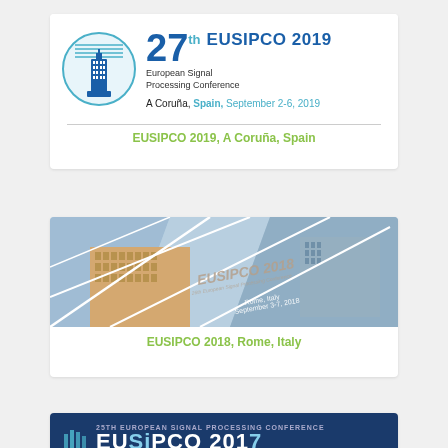[Figure (logo): EUSIPCO 2019 conference banner with tower logo, 27th European Signal Processing Conference, A Coruña, Spain, September 2-6, 2019]
EUSIPCO 2019, A Coruña, Spain
[Figure (photo): EUSIPCO 2018 conference banner with geometric pattern and building, Rome, Italy, September 3-7, 2018]
EUSIPCO 2018, Rome, Italy
[Figure (logo): EUSIPCO 2017 conference banner, 25th European Signal Processing Conference, partial view]